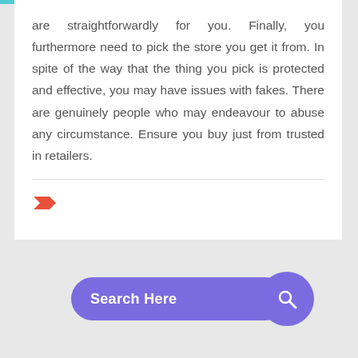are straightforwardly for you. Finally, you furthermore need to pick the store you get it from. In spite of the way that the thing you pick is protected and effective, you may have issues with fakes. There are genuinely people who may endeavour to abuse any circumstance. Ensure you buy just from trusted in retailers.
[Figure (other): Red/orange tag/label icon]
[Figure (other): Search bar with purple rounded rectangle labeled 'Search Here' and a purple circle button with magnifying glass icon]